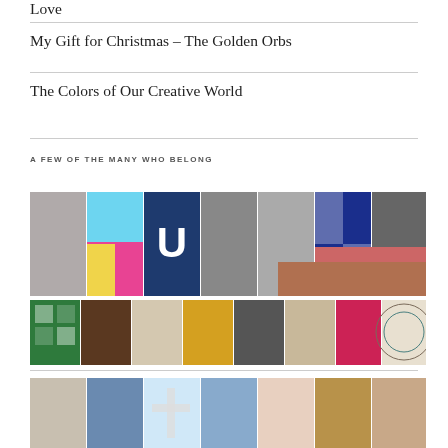Love
My Gift for Christmas – The Golden Orbs
The Colors of Our Creative World
A FEW OF THE MANY WHO BELONG
[Figure (photo): A horizontal strip of user avatar/profile photos and images for blog followers, row 1]
[Figure (photo): A second horizontal strip of user avatar/profile photos continuing below, partially visible on right]
[Figure (photo): A third horizontal strip of user avatar/profile photos, row 2]
[Figure (photo): A fourth horizontal strip of user avatar/profile photos, row 3, partially cut off at bottom]